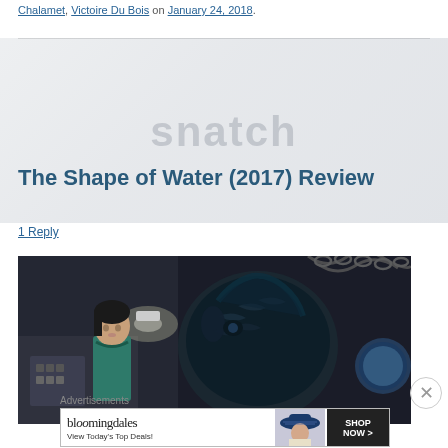Chalamet, Victoire Du Bois on January 24, 2018.
The Shape of Water (2017) Review
1 Reply
[Figure (photo): Movie still from The Shape of Water (2017): a woman with dark hair in a teal uniform looks at a large dark amphibious creature, in an industrial setting with chains visible]
Advertisements
[Figure (photo): Bloomingdale's advertisement: logo, 'View Today's Top Deals!' tagline, woman in navy hat, 'SHOP NOW >' button]